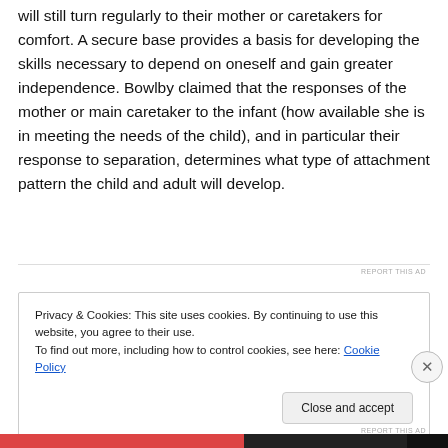will still turn regularly to their mother or caretakers for comfort. A secure base provides a basis for developing the skills necessary to depend on oneself and gain greater independence. Bowlby claimed that the responses of the mother or main caretaker to the infant (how available she is in meeting the needs of the child), and in particular their response to separation, determines what type of attachment pattern the child and adult will develop.
Privacy & Cookies: This site uses cookies. By continuing to use this website, you agree to their use. To find out more, including how to control cookies, see here: Cookie Policy
Close and accept